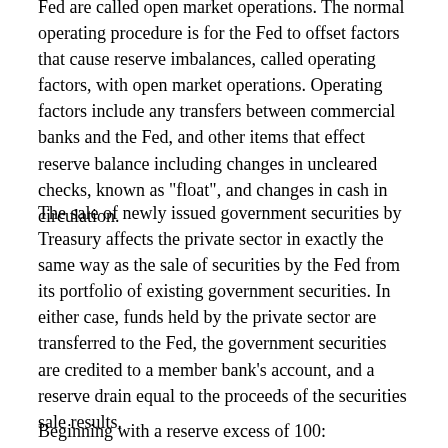Fed are called open market operations. The normal operating procedure is for the Fed to offset factors that cause reserve imbalances, called operating factors, with open market operations. Operating factors include any transfers between commercial banks and the Fed, and other items that effect reserve balance including changes in uncleared checks, known as "float", and changes in cash in circulation.
The sale of newly issued government securities by Treasury affects the private sector in exactly the same way as the sale of securities by the Fed from its portfolio of existing government securities. In either case, funds held by the private sector are transferred to the Fed, the government securities are credited to a member bank's account, and a reserve drain equal to the proceeds of the securities sale results.
Beginning with a reserve excess of 100: